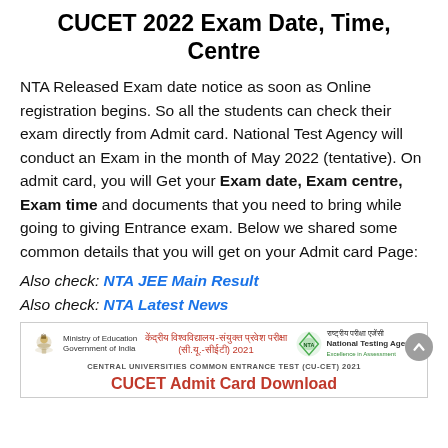CUCET 2022 Exam Date, Time, Centre
NTA Released Exam date notice as soon as Online registration begins. So all the students can check their exam directly from Admit card. National Test Agency will conduct an Exam in the month of May 2022 (tentative). On admit card, you will Get your Exam date, Exam centre, Exam time and documents that you need to bring while going to giving Entrance exam. Below we shared some common details that you will get on your Admit card Page:
Also check: NTA JEE Main Result
Also check: NTA Latest News
[Figure (screenshot): CUCET 2021 Admit Card image showing Ministry of Education logo, National Testing Agency logo, Hindi text for Central Universities Common Entrance Test, English subtitle CENTRAL UNIVERSITIES COMMON ENTRANCE TEST (CU-CET) 2021, and red heading CUCET Admit Card Download]